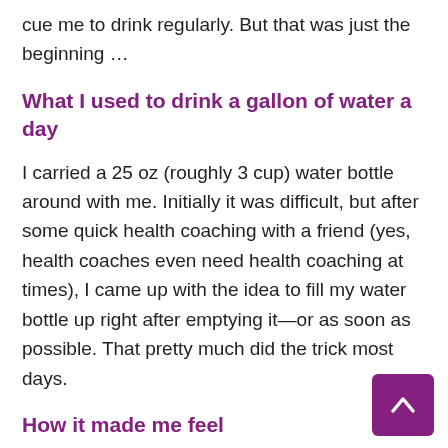cue me to drink regularly. But that was just the beginning …
What I used to drink a gallon of water a day
I carried a 25 oz (roughly 3 cup) water bottle around with me. Initially it was difficult, but after some quick health coaching with a friend (yes, health coaches even need health coaching at times), I came up with the idea to fill my water bottle up right after emptying it—or as soon as possible. That pretty much did the trick most days.
How it made me feel